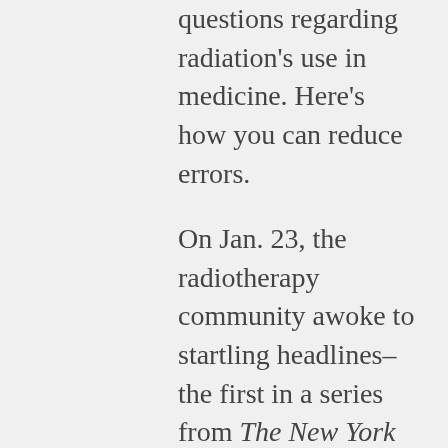questions regarding radiation's use in medicine. Here's how you can reduce errors.
On Jan. 23, the radiotherapy community awoke to startling headlines–the first in a series from The New York Times dealing with errors in radiation therapy. This isn't the first time such articles have seen publication. In 1992, the Cleveland Plain Dealer ran a series that caught the attention of radiation therapy professionals, but not to the degree of the Times pieces. In